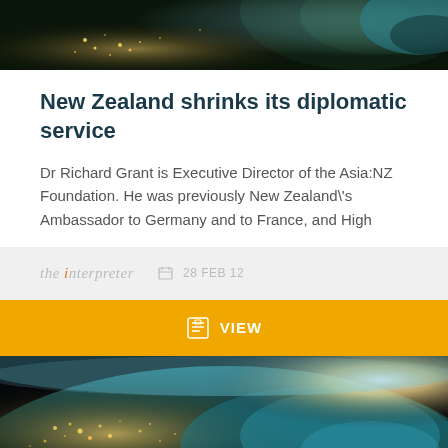[Figure (photo): Satellite view of Earth at night showing city lights and ocean, cropped at top of page]
New Zealand shrinks its diplomatic service
Dr Richard Grant is Executive Director of the Asia:NZ Foundation. He was previously New Zealand\'s Ambassador to Germany and to France, and High
the interpreter  28 FEB 12
VIEW
[Figure (photo): Satellite view of Earth at night showing city lights and ocean with sunlight on the horizon]